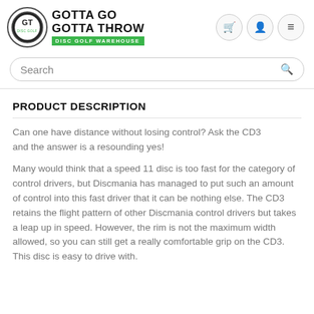Gotta Go Gotta Throw — Disc Golf Warehouse
PRODUCT DESCRIPTION
Can one have distance without losing control? Ask the CD3 and the answer is a resounding yes!
Many would think that a speed 11 disc is too fast for the category of control drivers, but Discmania has managed to put such an amount of control into this fast driver that it can be nothing else. The CD3 retains the flight pattern of other Discmania control drivers but takes a leap up in speed. However, the rim is not the maximum width allowed, so you can still get a really comfortable grip on the CD3. This disc is easy to drive with.